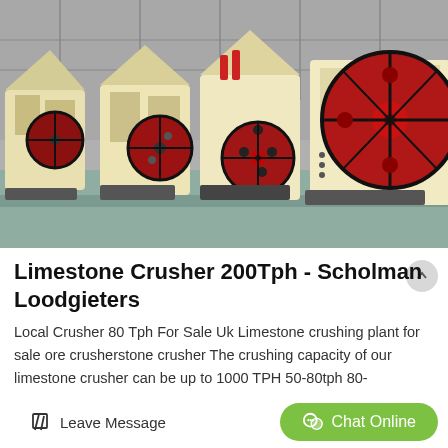[Figure (photo): Industrial limestone crusher machines lined up in a factory — large cream/yellow jaw crushers with red flywheels on a concrete floor, industrial building interior background]
Limestone Crusher 200Tph - Scholman Loodgieters
Local Crusher 80 Tph For Sale Uk Limestone crushing plant for sale ore crusherstone crusher The crushing capacity of our limestone crusher can be up to 1000 TPH 50-80tph 80-